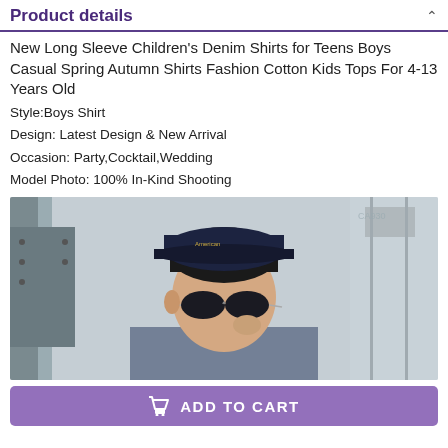Product details
New Long Sleeve Children's Denim Shirts for Teens Boys Casual Spring Autumn Shirts Fashion Cotton Kids Tops For 4-13 Years Old
Style:Boys Shirt
Design: Latest Design & New Arrival
Occasion: Party,Cocktail,Wedding
Model Photo: 100% In-Kind Shooting
[Figure (photo): Young boy wearing a dark navy baseball cap and aviator sunglasses, holding the sunglasses, photographed outdoors against a light architectural background.]
ADD TO CART